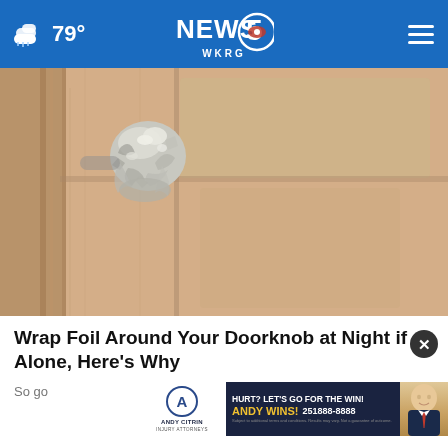79° NEWS 5 WKRG
[Figure (photo): Close-up photo of a door knob wrapped in aluminum foil on a wooden door]
Wrap Foil Around Your Doorknob at Night if Alone, Here's Why
So go
[Figure (logo): Andy Citrin Injury Attorneys logo with letter A in circle]
[Figure (infographic): Advertisement: HURT? LET'S GO FOR THE WIN! ANDY WINS! 251-888-8888 with photo of attorney]